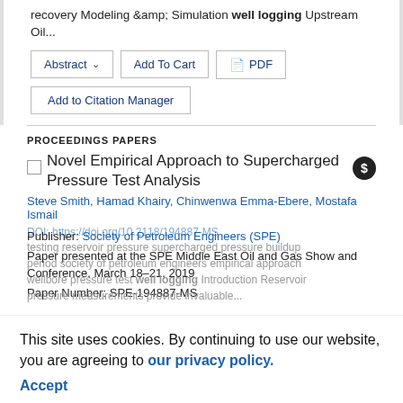recovery Modeling & Simulation well logging Upstream Oil...
Abstract ∨   Add To Cart   PDF
Add to Citation Manager
PROCEEDINGS PAPERS
Novel Empirical Approach to Supercharged Pressure Test Analysis
Steve Smith, Hamad Khairy, Chinwenwa Emma-Ebere, Mostafa Ismail
Publisher: Society of Petroleum Engineers (SPE)
Paper presented at the SPE Middle East Oil and Gas Show and Conference, March 18–21, 2019
Paper Number: SPE-194887-MS
DOI: https://doi.org/10.2118/194887-MS
testing reservoir pressure supercharged pressure buildup period society of petroleum engineers empirical approach wellbore pressure test well logging Introduction Reservoir pressure measurements provide invaluable...
This site uses cookies. By continuing to use our website, you are agreeing to our privacy policy. Accept